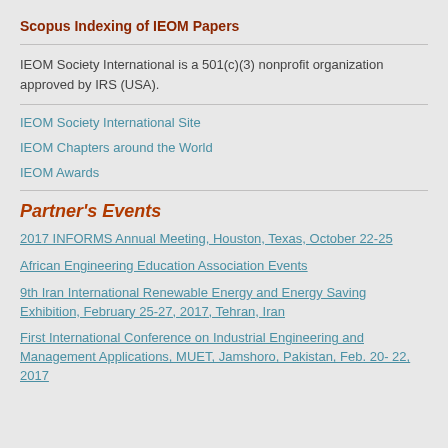Scopus Indexing of IEOM Papers
IEOM Society International is a 501(c)(3) nonprofit organization approved by IRS (USA).
IEOM Society International Site
IEOM Chapters around the World
IEOM Awards
Partner's Events
2017 INFORMS Annual Meeting, Houston, Texas, October 22-25
African Engineering Education Association Events
9th Iran International Renewable Energy and Energy Saving Exhibition, February 25-27, 2017, Tehran, Iran
First International Conference on Industrial Engineering and Management Applications, MUET, Jamshoro, Pakistan, Feb. 20- 22, 2017